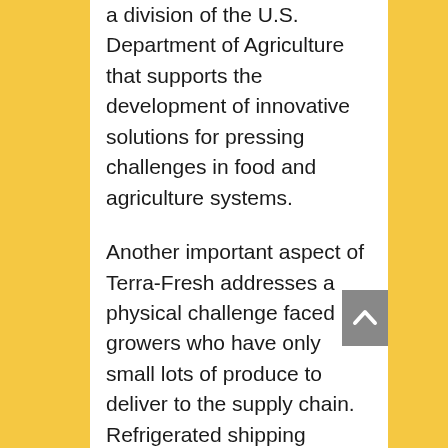a division of the U.S. Department of Agriculture that supports the development of innovative solutions for pressing challenges in food and agriculture systems.
Another important aspect of Terra-Fresh addresses a physical challenge faced by growers who have only small lots of produce to deliver to the supply chain. Refrigerated shipping containers that transport fresh fruit and vegetables often measure 8 feet wide, 9 feet high and 40 feet long. Simultaneously, government regulations to combat foodborne illnesses require precise traceability and the segmentation of batches or lots of produce by source to avert cross-contamination.
The combination of these two factors is not a